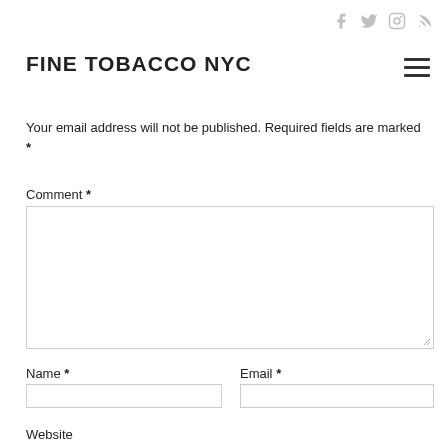FINE TOBACCO NYC
Your email address will not be published. Required fields are marked *
Comment *
Name *
Email *
Website